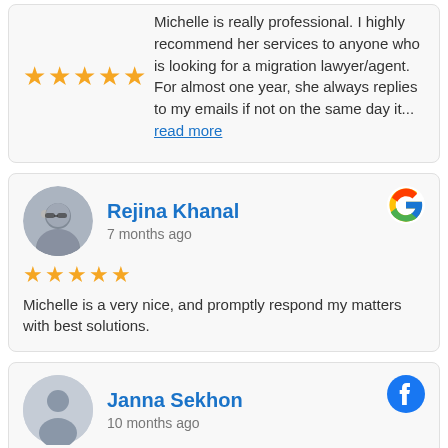Michelle is really professional. I highly recommend her services to anyone who is looking for a migration lawyer/agent. For almost one year, she always replies to my emails if not on the same day it... read more
Rejina Khanal
7 months ago
★★★★★ Michelle is a very nice, and promptly respond my matters with best solutions.
Janna Sekhon
10 months ago
★★★★★ Michelle has been lovely to deal with. She has helped us along the way and answered all of our questions promptly. She is extremely good at what she